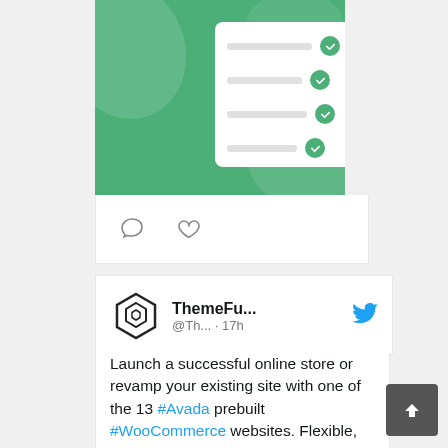[Figure (illustration): Green banner with white checklist card showing four rows with gray lines and green checkmark circles]
[Figure (screenshot): Social media icon bar with comment bubble and heart icons]
[Figure (screenshot): Tweet by ThemeFu... @Th... 17h with ThemeFusion hexagon logo and Twitter bird icon]
Launch a successful online store or revamp your existing site with one of the 13 #Avada prebuilt #WooCommerce websites. Flexible, easy to customize, & designed to save you time. Get started today bit.ly/3wuT0Bd #WordPress #HowTo #WebsiteBuilder #design #resources